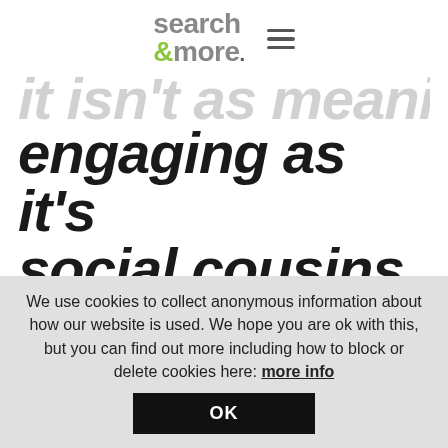search &more
engaging as it's social cousins.
Let's face it, Pinterest has the edge when it comes to leaving a visual impression, Instagram offers the creatives a more edgy perspective, Facebook is a trusty old friend and Twitter is a relentless inferno of
We use cookies to collect anonymous information about how our website is used. We hope you are ok with this, but you can find out more including how to block or delete cookies here: more info
OK